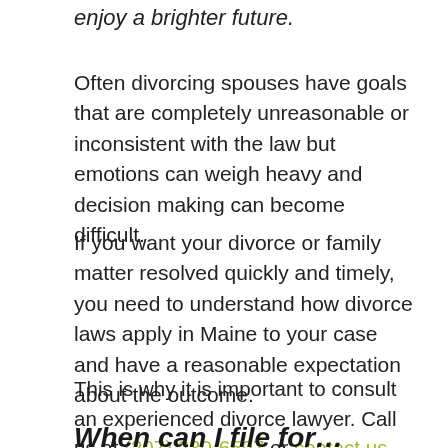enjoy a brighter future.
Often divorcing spouses have goals that are completely unreasonable or inconsistent with the law but emotions can weigh heavy and decision making can become difficult.
If you want your divorce or family matter resolved quickly and timely, you need to understand how divorce laws apply in Maine to your case and have a reasonable expectation about the outcome.
This is why it is important to consult an experienced divorce lawyer. Call us at (207) 230-6597 or contact us directly online. We are here to assist your family.
When can I file for…